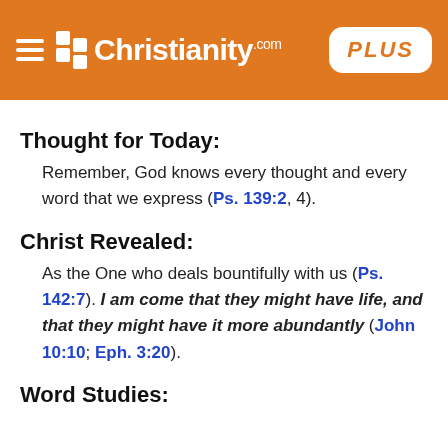Christianity.com PLUS
Thought for Today:
Remember, God knows every thought and every word that we express (Ps. 139:2, 4).
Christ Revealed:
As the One who deals bountifully with us (Ps. 142:7). I am come that they might have life, and that they might have it more abundantly (John 10:10; Eph. 3:20).
Word Studies: